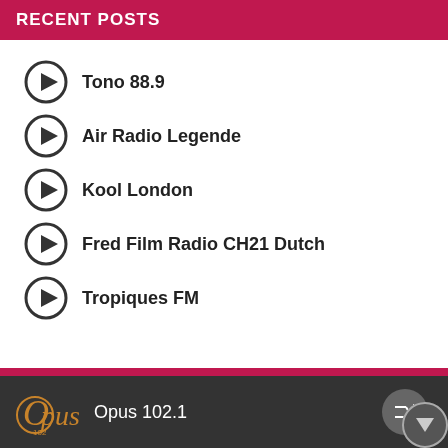RECENT POSTS
Tono 88.9
Air Radio Legende
Kool London
Fred Film Radio CH21 Dutch
Tropiques FM
Opus 102.1